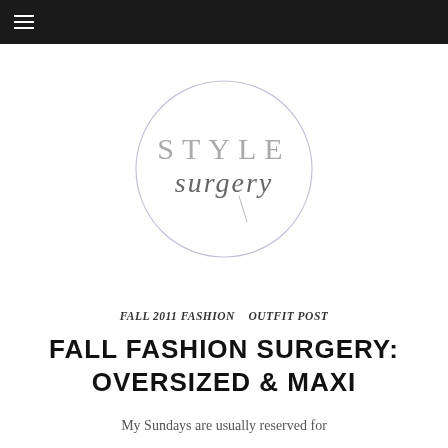[Figure (logo): Style Surgery circular logo with 'STYLE' in light serif text and 'surgery' in cursive script, enclosed in a thin circle with a lavender/light purple outline]
FALL 2011 FASHION   OUTFIT POST
FALL FASHION SURGERY: OVERSIZED & MAXI
My Sundays are usually reserved for